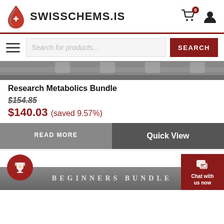[Figure (logo): SwissChems.IS website logo with red droplet icon and site name]
[Figure (screenshot): Search bar row with hamburger menu, search input placeholder 'Search for products...' and red SEARCH button]
[Figure (photo): Grayscale product image strip showing vials/bottles]
Research Metabolics Bundle
$154.85
$140.03 (saved 9.57%)
READ MORE
Quick View
[Figure (photo): Bottom section with trophy badge icon and BEGINNERS BUNDLE text on dark background]
Chat with us now